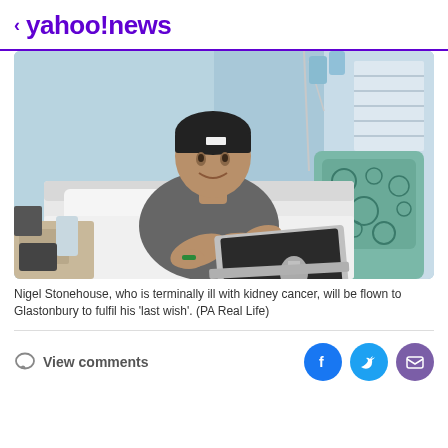< yahoo!news
[Figure (photo): Man (Nigel Stonehouse) lying in a hospital bed wearing a black beanie hat and grey t-shirt, smiling, with a MacBook laptop on his lap. Hospital room with teal walls, medical equipment, and a patterned chair in the background.]
Nigel Stonehouse, who is terminally ill with kidney cancer, will be flown to Glastonbury to fulfil his 'last wish'. (PA Real Life)
View comments